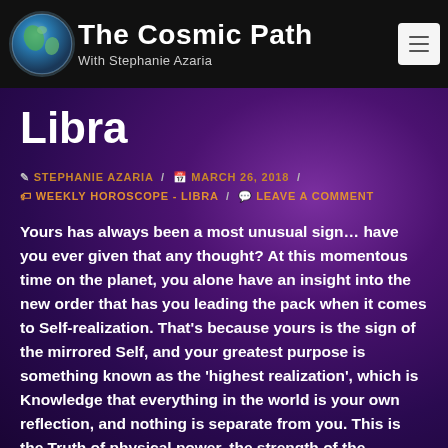The Cosmic Path — With Stephanie Azaria
Libra
✎ STEPHANIE AZARIA / 📅 MARCH 26, 2018 / 🏷 WEEKLY HOROSCOPE - LIBRA / 💬 LEAVE A COMMENT
Yours has always been a most unusual sign… have you ever given that any thought? At this momentous time on the planet, you alone have an insight into the new order that has you leading the pack when it comes to Self-realization. That's because yours is the sign of the mirrored Self, and your greatest purpose is something known as the 'highest realization', which is Knowledge that everything in the world is your own reflection, and nothing is separate from you. This is the Truth of physical power, the strength of the physical to influence our consciousness. The real reason we chose to embody